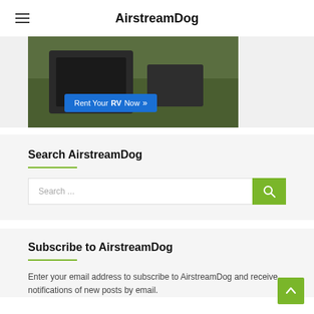AirstreamDog
[Figure (photo): Photo of an RV outdoors on grass with a blue 'Rent Your RV Now »' button overlay]
Search AirstreamDog
Search ...
Subscribe to AirstreamDog
Enter your email address to subscribe to AirstreamDog and receive notifications of new posts by email.